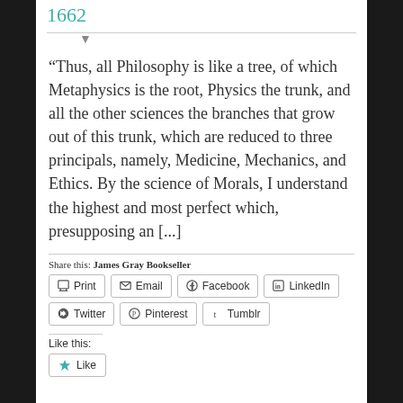1662
“Thus, all Philosophy is like a tree, of which Metaphysics is the root, Physics the trunk, and all the other sciences the branches that grow out of this trunk, which are reduced to three principals, namely, Medicine, Mechanics, and Ethics. By the science of Morals, I understand the highest and most perfect which, presupposing an [...]
Share this: James Gray Bookseller
Print | Email | Facebook | LinkedIn | Twitter | Pinterest | Tumblr
Like this:
Like